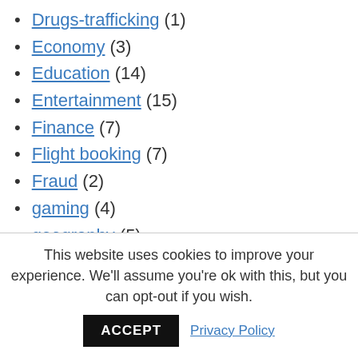Drugs-trafficking (1)
Economy (3)
Education (14)
Entertainment (15)
Finance (7)
Flight booking (7)
Fraud (2)
gaming (4)
geography (5)
Health (8)
job (5)
Medication (4)
Mobile (7)
This website uses cookies to improve your experience. We'll assume you're ok with this, but you can opt-out if you wish.
ACCEPT  Privacy Policy